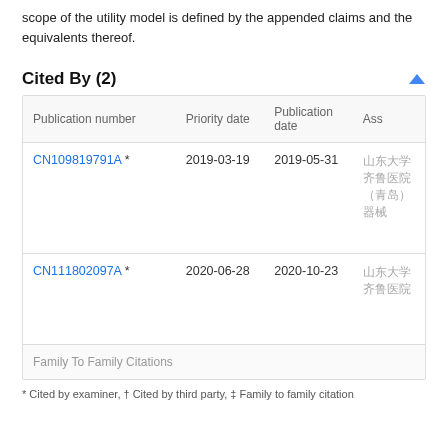scope of the utility model is defined by the appended claims and the equivalents thereof.
Cited By (2)
| Publication number | Priority date | Publication date | Assignee |
| --- | --- | --- | --- |
| CN109819791A * | 2019-03-19 | 2019-05-31 | 山东大学齐鲁医院（青岛） 器械工程有限公司 |
| CN111802097A * | 2020-06-28 | 2020-10-23 | 山东大学齐鲁医院 |
| Family To Family Citations |  |  |  |
* Cited by examiner, † Cited by third party, ‡ Family to family citation